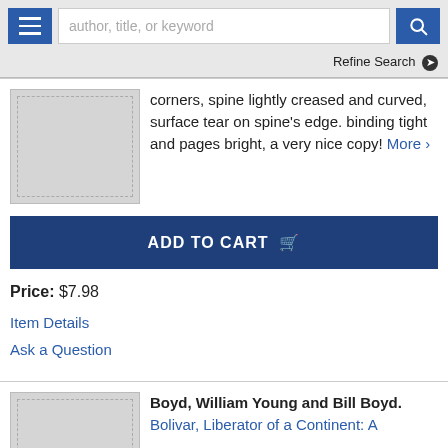author, title, or keyword  Refine Search
corners, spine lightly creased and curved, surface tear on spine's edge. binding tight and pages bright, a very nice copy! More >
[Figure (other): Placeholder book thumbnail image (grey rectangle with dashed border)]
ADD TO CART
Price: $7.98
Item Details
Ask a Question
[Figure (other): Placeholder book thumbnail image (grey rectangle with dashed border)]
Boyd, William Young and Bill Boyd.
Bolivar, Liberator of a Continent: A